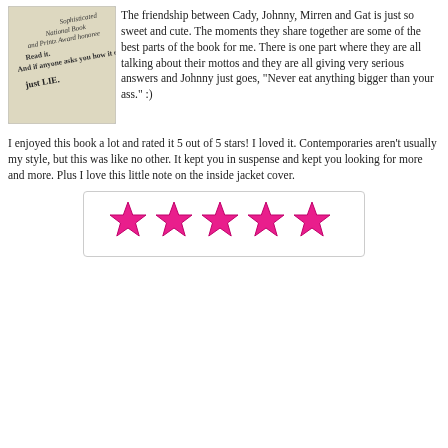[Figure (photo): Photo of a book's inside jacket cover with text about National Book Award and Printz Award honoree, with the message 'Read it. And if anyone asks you how it ends, just LIE.']
The friendship between Cady, Johnny, Mirren and Gat is just so sweet and cute. The moments they share together are some of the best parts of the book for me. There is one part where they are all talking about their mottos and they are all giving very serious answers and Johnny just goes, "Never eat anything bigger than your ass." :)
I enjoyed this book a lot and rated it 5 out of 5 stars! I loved it. Contemporaries aren't usually my style, but this was like no other. It kept you in suspense and kept you looking for more and more. Plus I love this little note on the inside jacket cover.
[Figure (illustration): Five pink star emojis representing a 5-star rating]